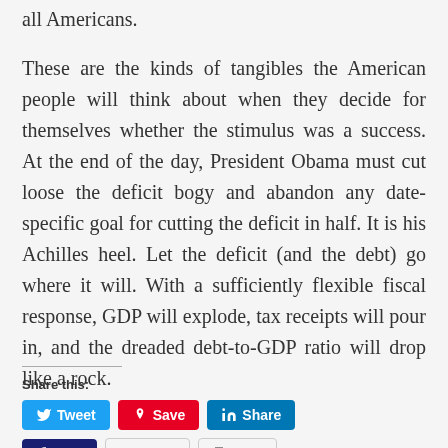all Americans.
These are the kinds of tangibles the American people will think about when they decide for themselves whether the stimulus was a success. At the end of the day, President Obama must cut loose the deficit bogy and abandon any date-specific goal for cutting the deficit in half. It is his Achilles heel. Let the deficit (and the debt) go where it will. With a sufficiently flexible fiscal response, GDP will explode, tax receipts will pour in, and the dreaded debt-to-GDP ratio will drop like a rock.
Share this:
Tweet Save Share Post Email Print